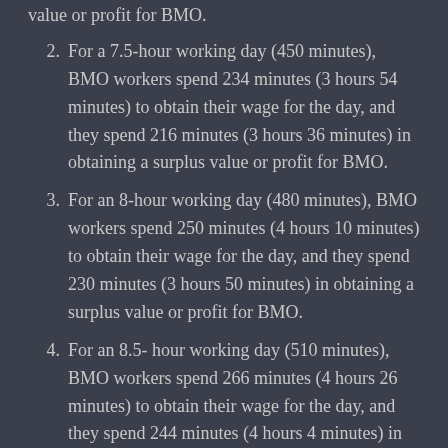For a 7.5-hour working day (450 minutes), BMO workers spend 234 minutes (3 hours 54 minutes) to obtain their wage for the day, and they spend 216 minutes (3 hours 36 minutes) in obtaining a surplus value or profit for BMO.
For an 8-hour working day (480 minutes), BMO workers spend 250 minutes (4 hours 10 minutes) to obtain their wage for the day, and they spend 230 minutes (3 hours 50 minutes) in obtaining a surplus value or profit for BMO.
For an 8.5- hour working day (510 minutes), BMO workers spend 266 minutes (4 hours 26 minutes) to obtain their wage for the day, and they spend 244 minutes (4 hours 4 minutes) in obtaining a surplus